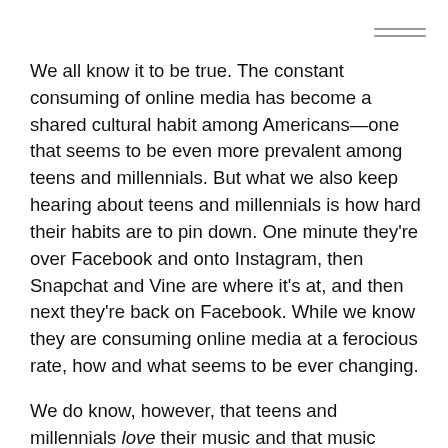We all know it to be true. The constant consuming of online media has become a shared cultural habit among Americans—one that seems to be even more prevalent among teens and millennials. But what we also keep hearing about teens and millennials is how hard their habits are to pin down. One minute they're over Facebook and onto Instagram, then Snapchat and Vine are where it's at, and then next they're back on Facebook. While we know they are consuming online media at a ferocious rate, how and what seems to be ever changing.
We do know, however, that teens and millennials love their music and that music listening is one of this group's favorite activities. Thanks to new findings from The Infinite Dial, a landmark annual study about online media usage from Edison Research, we can tell a lot about how 12-24 year olds are tuning in and engaging with online music content.